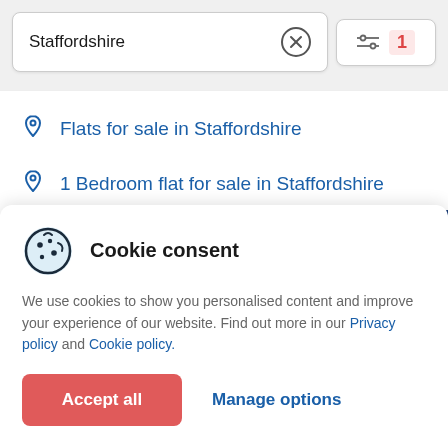Staffordshire
Flats for sale in Staffordshire
1 Bedroom flat for sale in Staffordshire
Cookie consent
We use cookies to show you personalised content and improve your experience of our website. Find out more in our Privacy policy and Cookie policy.
Accept all
Manage options
Feedback